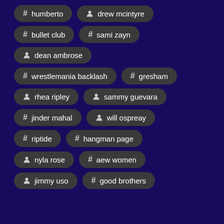# humberto
person drew mcintyre
# bullet club
# sami zayn
person dean ambrose
# wrestlemania backlash
# gresham
person rhea ripley
person sammy guevara
# jinder mahal
person will ospreay
# riptide
# hangman page
person nyla rose
# aew women
person jimmy uso
# good brothers